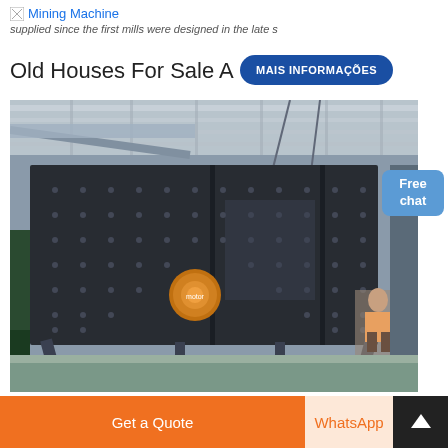Mining Machine
supplied since the first mills were designed in the late s
Old Houses For Sale A
MAIS INFORMAÇÕES
[Figure (photo): Large industrial vibrating screen machine in a factory warehouse setting. The machine is dark grey/black with bolt patterns on the side panels and an orange motor/vibrator unit. A worker in safety equipment is visible to the right. The factory has a crane and industrial lighting visible overhead.]
[Figure (photo): Partial view of dark industrial machinery, appears to be a close-up of machine components.]
Free chat
Get a Quote
WhatsApp